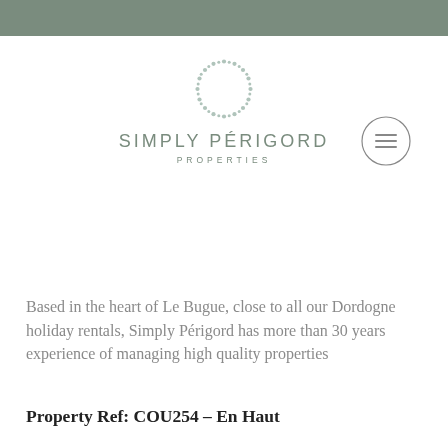[Figure (logo): Simply Périgord Properties logo with dotted circle emblem above the text]
Based in the heart of Le Bugue, close to all our Dordogne holiday rentals, Simply Périgord has more than 30 years experience of managing high quality properties
Property Ref: COU254 – En Haut de la Colline